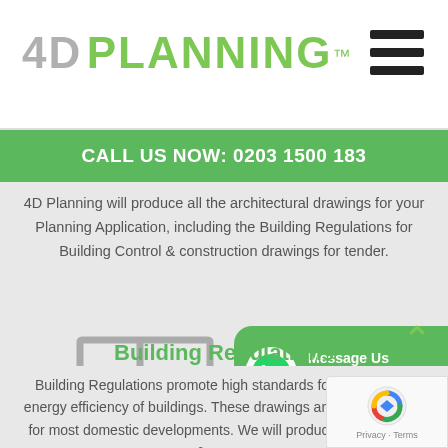4D PLANNING™
CALL US NOW: 0203 1500 183
4D Planning will produce all the architectural drawings for your Planning Application, including the Building Regulations for Building Control & construction drawings for tender.
[Figure (illustration): Floor plan / architectural drawing outline icon in grey]
[Figure (infographic): WhatsApp green widget with phone icon, Message Us Online button]
Building Regulations
Building Regulations promote high standards for construction energy efficiency of buildings. These drawings are a requirement for most domestic developments. We will produce the drawings & ensure